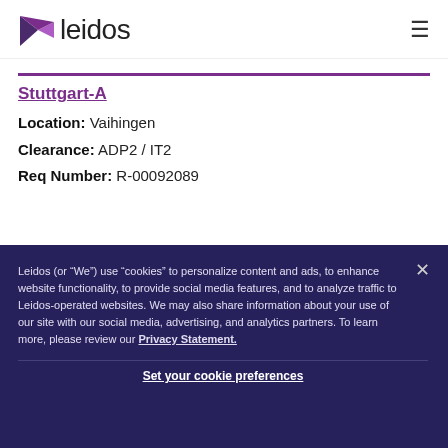[Figure (logo): Leidos company logo with purple triangular arrow icon and 'leidos' wordmark]
Stuttgart-A
Location: Vaihingen
Clearance: ADP2 / IT2
Req Number: R-00092089
Leidos (or “We”) use “cookies” to personalize content and ads, to enhance website functionality, to provide social media features, and to analyze traffic to Leidos-operated websites. We may also share information about your use of our site with our social media, advertising, and analytics partners. To learn more, please review our Privacy Statement.
Set your cookie preferences